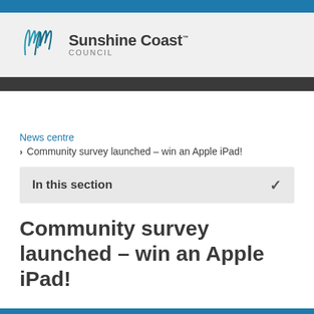[Figure (logo): Sunshine Coast Council logo with teal wave/grass graphic and text]
News centre
> Community survey launched – win an Apple iPad!
In this section
Community survey launched – win an Apple iPad!